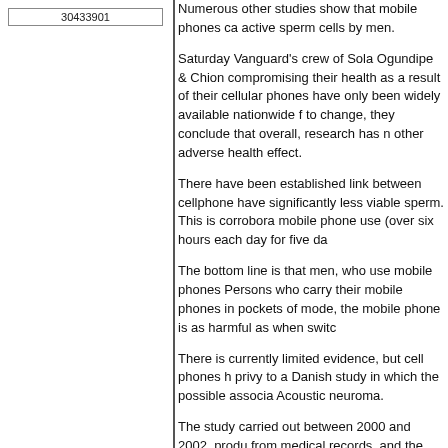30433901
Numerous other studies show that mobile phones ca active sperm cells by men.
Saturday Vanguard's crew of Sola Ogundipe & Chion compromising their health as a result of their cellular phones have only been widely available nationwide f to change, they conclude that overall, research has n other adverse health effect.
There have been established link between cellphone have significantly less viable sperm. This is corrobora mobile phone use (over six hours each day for five da
The bottom line is that men, who use mobile phones Persons who carry their mobile phones in pockets of mode, the mobile phone is as harmful as when switc
There is currently limited evidence, but cell phones h privy to a Danish study in which the possible associa Acoustic neuroma.
The study carried out between 2000 and 2002, produ from medical records, and the results of radiologic ex from cell phone use for 10 years or more did not incr Furthermore, it was shown that tumours did not occu that the size of the tumour did not correlate with the p
The results of the prospective, population-based, nat not completely exonerate cell phone use and risk of c used close to the head, that the radiofrequency ener Research have focused on whether radiofrequency e